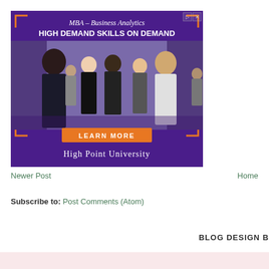[Figure (photo): Advertisement banner for High Point University MBA in Business Analytics. Purple background with orange corner brackets, photo of business students networking, orange 'LEARN MORE' button, and university name at bottom. Text: MBA – Business Analytics, HIGH DEMAND SKILLS ON DEMAND, LEARN MORE, HIGH POINT UNIVERSITY.]
Newer Post    Home
Subscribe to: Post Comments (Atom)
BLOG DESIGN B